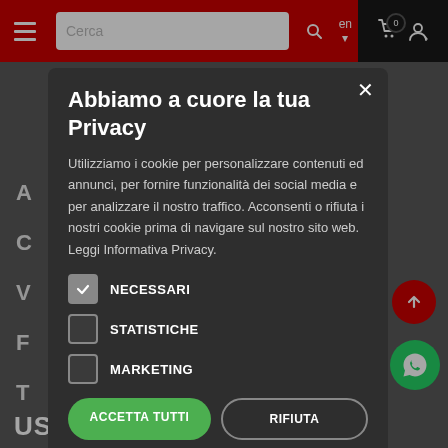[Figure (screenshot): Website navigation bar with red background, hamburger menu, search box with 'Cerca' placeholder, search button, language selector 'en', cart icon with 0 badge, and user icon. Below is a dark gray background website page with partial sidebar letters visible.]
Abbiamo a cuore la tua Privacy
Utilizziamo i cookie per personalizzare contenuti ed annunci, per fornire funzionalità dei social media e per analizzare il nostro traffico. Acconsenti o rifiuta i nostri cookie prima di navigare sul nostro sito web. Leggi Informativa Privacy.
NECESSARI
STATISTICHE
MARKETING
ACCETTA TUTTI
RIFIUTA
MAGGIORI DETTAGLI SUI COOKIE